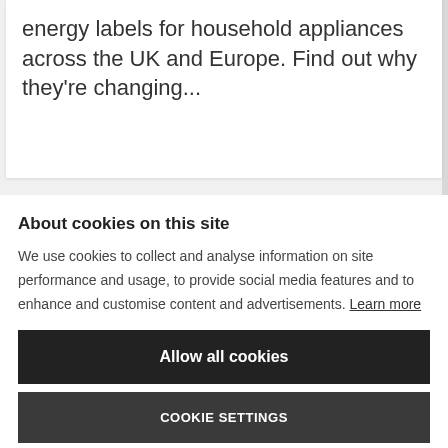energy labels for household appliances across the UK and Europe. Find out why they're changing...
About cookies on this site
We use cookies to collect and analyse information on site performance and usage, to provide social media features and to enhance and customise content and advertisements. Learn more
Allow all cookies
COOKIE SETTINGS